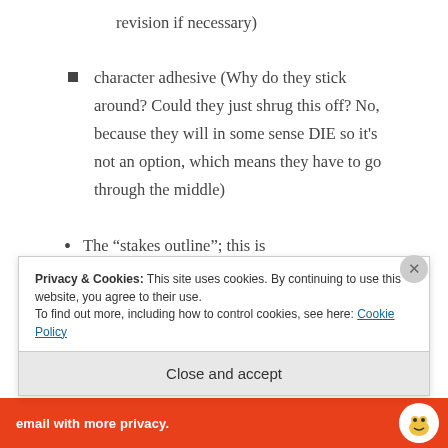revision if necessary)
character adhesive (Why do they stick around? Could they just shrug this off? No, because they will in some sense DIE so it's not an option, which means they have to go through the middle)
The “stakes outline”; this is
Privacy & Cookies: This site uses cookies. By continuing to use this website, you agree to their use.
To find out more, including how to control cookies, see here: Cookie Policy
Close and accept